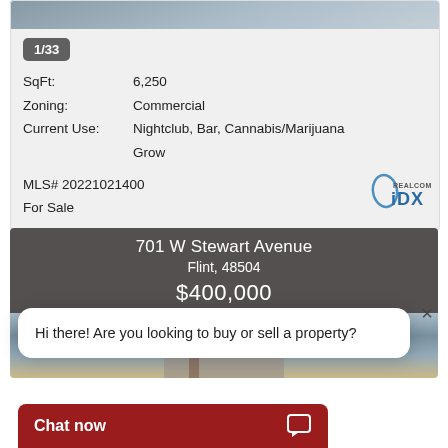[Figure (photo): Top portion of a real estate property photo, partially visible at the top of the first listing card]
1/33
SqFt: 6,250
Zoning: Commercial
Current Use: Nightclub, Bar, Cannabis/Marijuana Grow
MLS# 20221021400
For Sale
[Figure (logo): Realcom IDX logo]
701 W Stewart Avenue
Flint, 48504
$400,000
[Figure (photo): Partial exterior photo of commercial property at 701 W Stewart Avenue]
Hi there! Are you looking to buy or sell a property?
Chat now